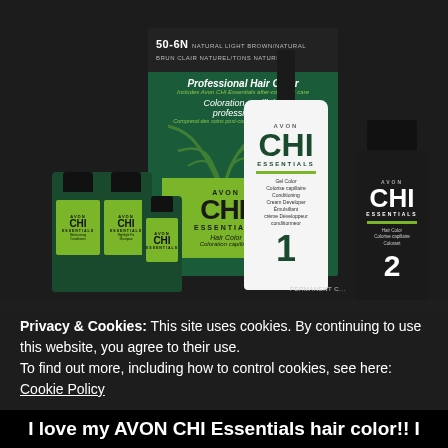[Figure (photo): Avon CHI Essentials hair color product set including: a dark green box labeled '50-6N Natural Light Brown/Natural Brun Clair Naturel/Tons Naturels Professional Hair Color', several dark green small bottles with CHI Essentials labels, a large white applicator bottle labeled CHI ESSENTIALS number 1, and a dark bottle labeled CHI ESSENTIALS number 2.]
Privacy & Cookies: This site uses cookies. By continuing to use this website, you agree to their use.
To find out more, including how to control cookies, see here:
Cookie Policy
Close and accept
I love my AVON CHI Essentials hair color!! I